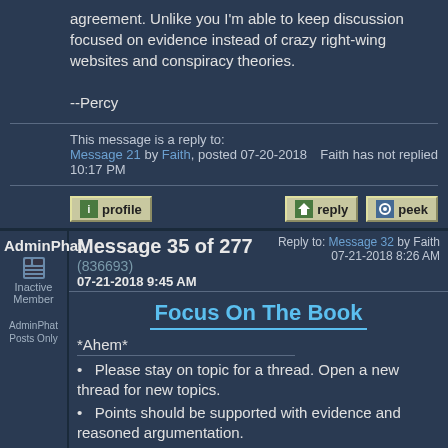agreement. Unlike you I'm able to keep discussion focused on evidence instead of crazy right-wing websites and conspiracy theories.

--Percy
This message is a reply to:
Message 21 by Faith, posted 07-20-2018 10:17 PM | Faith has not replied
[Figure (screenshot): Forum action buttons: profile, reply, peek]
AdminPhat | Inactive Member
Message 35 of 277 (836693) 07-21-2018 9:45 AM | Reply to: Message 32 by Faith 07-21-2018 8:26 AM
AdminPhat Posts Only
Focus On The Book
*Ahem*
Please stay on topic for a thread. Open a new thread for new topics.
Points should be supported with evidence and reasoned argumentation.
The sincerely held beliefs of other